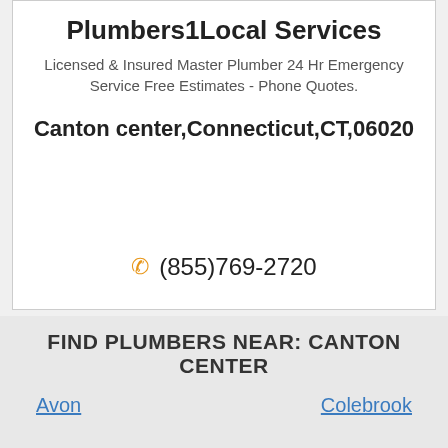Plumbers1Local Services
Licensed & Insured Master Plumber 24 Hr Emergency Service Free Estimates - Phone Quotes.
Canton center,Connecticut,CT,06020
(855)769-2720
FIND PLUMBERS NEAR: CANTON CENTER
Avon
Colebrook